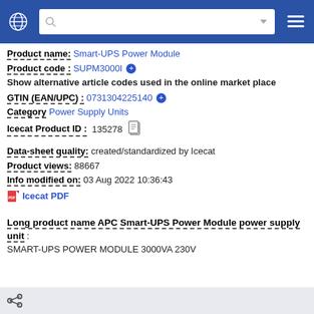Smart-UPS Power Module - Product page header navigation
Product name: Smart-UPS Power Module
Product code : SUPM3000I
Show alternative article codes used in the online market place
GTIN (EAN/UPC) : 0731304225140
Category Power Supply Units
Icecat Product ID : 135278
Data-sheet quality: created/standardized by Icecat
Product views: 88667
Info modified on: 03 Aug 2022 10:36:43
Icecat PDF
Long product name APC Smart-UPS Power Module power supply unit : SMART-UPS POWER MODULE 3000VA 230V
Share